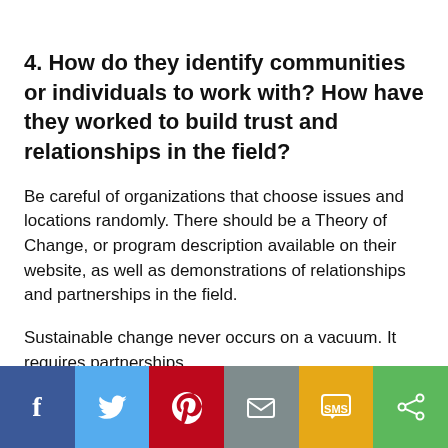4. How do they identify communities or individuals to work with? How have they worked to build trust and relationships in the field?
Be careful of organizations that choose issues and locations randomly. There should be a Theory of Change, or program description available on their website, as well as demonstrations of relationships and partnerships in the field.
Sustainable change never occurs on a vacuum. It requires partnerships.
[Figure (other): Social sharing bar with icons for Facebook, Twitter, Pinterest, Email, SMS, and Share]